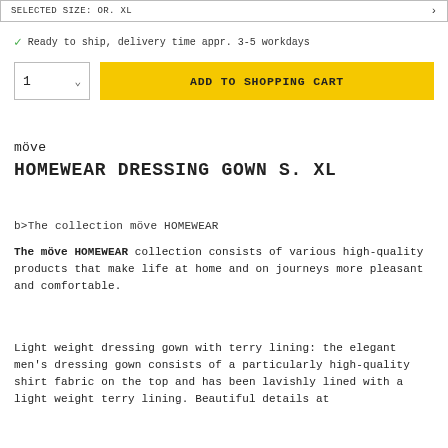SELECTED SIZE: OR. XL
Ready to ship, delivery time appr. 3-5 workdays
1  ADD TO SHOPPING CART
möve
HOMEWEAR DRESSING GOWN S. XL
b>The collection möve HOMEWEAR
The möve HOMEWEAR collection consists of various high-quality products that make life at home and on journeys more pleasant and comfortable.
Light weight dressing gown with terry lining: the elegant men's dressing gown consists of a particularly high-quality shirt fabric on the top and has been lavishly lined with a light weight terry lining. Beautiful details at